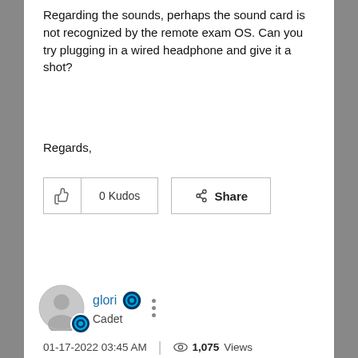Regarding the sounds, perhaps the sound card is not recognized by the remote exam OS. Can you try plugging in a wired headphone and give it a shot?
Regards,
[Figure (infographic): Kudos button with thumbs up icon showing 0 Kudos, and a Share button with share icon]
[Figure (infographic): Red Reply button]
[Figure (infographic): User avatar for glori with Cadet badge and three-dot menu]
01-17-2022 03:45 AM | 1,075 Views